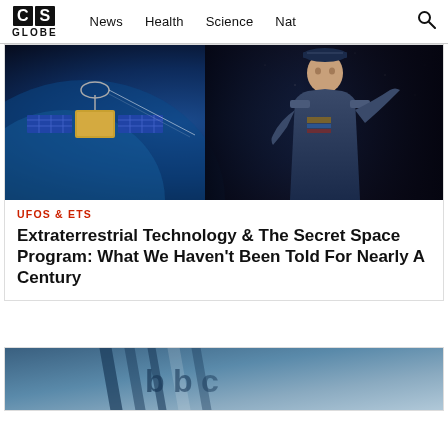CS GLOBE — News | Health | Science | Nat | Search
[Figure (photo): Military officer in Air Force uniform speaking/gesturing, overlaid with satellite imagery in space background]
UFOS & ETS
Extraterrestrial Technology & The Secret Space Program: What We Haven't Been Told For Nearly A Century
[Figure (photo): Partial image of what appears to be a news broadcast or technology-related graphic with blue tones]